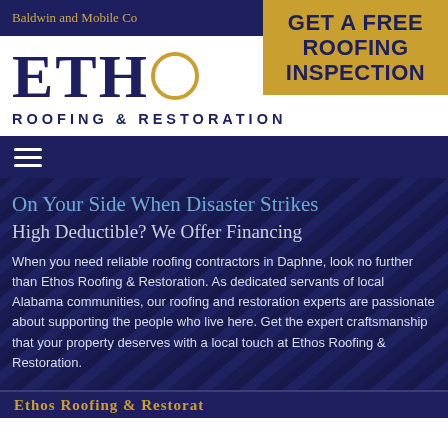Baldwin and Mobile Co
[Figure (logo): Ethos Roofing & Restoration logo with large serif 'ETHO' text and gold coin emblem, subtitle 'ROOFING & RESTORATION']
[Figure (infographic): Gold CTA button overlay reading 'GET A FREE ROOFING INSPECTION']
On Your Side When Disaster Strikes
High Deductible? We Offer Financing
When you need reliable roofing contractors in Daphne, look no further than Ethos Roofing & Restoration. As dedicated servants of local Alabama communities, our roofing and restoration experts are passionate about supporting the people who live here. Get the expert craftsmanship that your property deserves with a local touch at Ethos Roofing & Restoration.
Ethos Roofing & Restoration (partial)